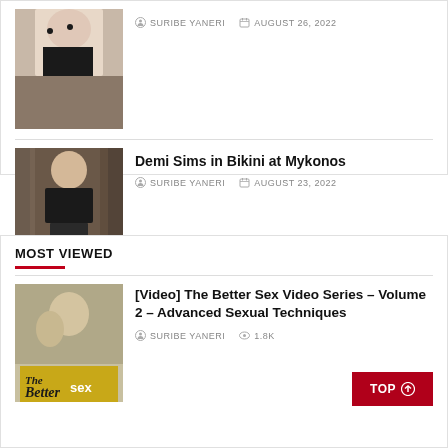[Figure (photo): Partial photo of a person in a black polka dot top, top portion cropped]
SURIBE YANERI   AUGUST 26, 2022
[Figure (photo): Person in black bikini top and dark skirt at Mykonos]
Demi Sims in Bikini at Mykonos
SURIBE YANERI   AUGUST 23, 2022
MOST VIEWED
[Figure (photo): Cover of 'The Better Sex' video series book/video, showing two people]
[Video] The Better Sex Video Series – Volume 2 – Advanced Sexual Techniques
SURIBE YANERI   1.8K